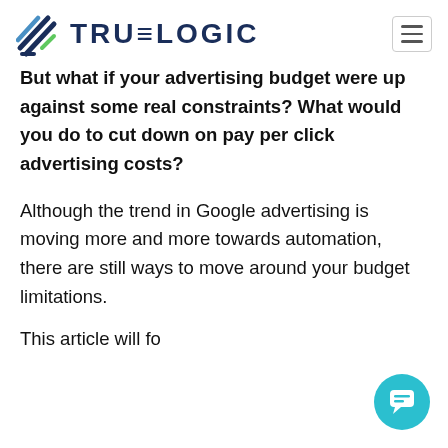TRUELOGIC
But what if your advertising budget were up against some real constraints? What would you do to cut down on pay per click advertising costs?
Although the trend in Google advertising is moving more and more towards automation, there are still ways to move around your budget limitations.
This article will focus on advertising limiting...